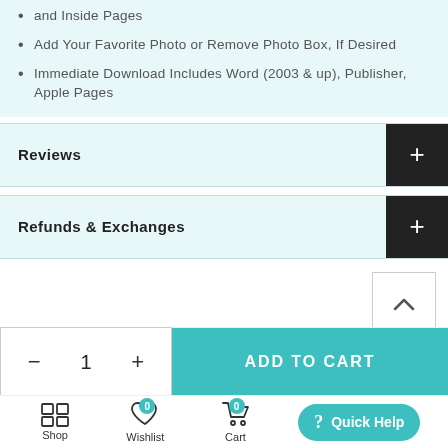and Inside Pages
Add Your Favorite Photo or Remove Photo Box, If Desired
Immediate Download Includes Word (2003 & up), Publisher, Apple Pages
Reviews
Refunds & Exchanges
[Figure (screenshot): Quantity selector with minus, 1, plus buttons and Add to Cart teal button]
[Figure (screenshot): Bottom navigation bar with Shop, Wishlist, Cart icons and Quick Help button]